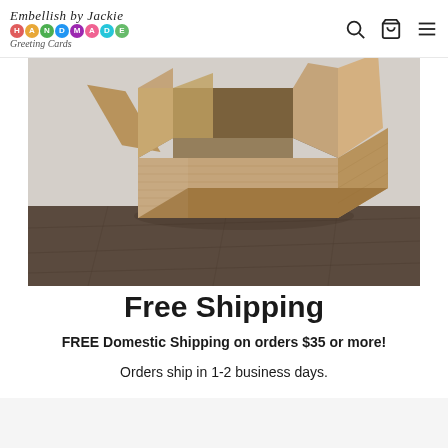Embellish by Jackie HANDMADE Greeting Cards
[Figure (photo): Open cardboard shipping box sitting on a dark wooden floor against a light background]
Free Shipping
FREE Domestic Shipping on orders $35 or more!
Orders ship in 1-2 business days.